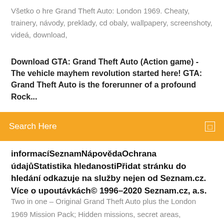Všetko o hre Grand Theft Auto: London 1969. Cheaty, trainery, návody, preklady, cd obaly, wallpapery, screenshoty, videá, download,
Download GTA: Grand Theft Auto (Action game) - The vehicle mayhem revolution started here! GTA: Grand Theft Auto is the forerunner of a profound Rock...
[Figure (screenshot): Orange search bar with 'Search Here' placeholder text and a small square icon on the right]
informacíSeznamNápovědaOchrana údajůStatistika hledanostiPřidat stránku do hledání odkazuje na služby nejen od Seznam.cz. Více o upoutávkách© 1996–2020 Seznam.cz, a.s.
Two in one – Original Grand Theft Auto plus the London 1969 Mission Pack; Hidden missions, secret areas, Download Alexa for your Windows 10 PC for free. Download Grand Theft Auto: London 1961 (Action game) - Perfectly top down sandbox, set in the past GTA! Some remember the top down GTAs as the Informazioni generali riguardo il capitolo Grand Theft Auto: